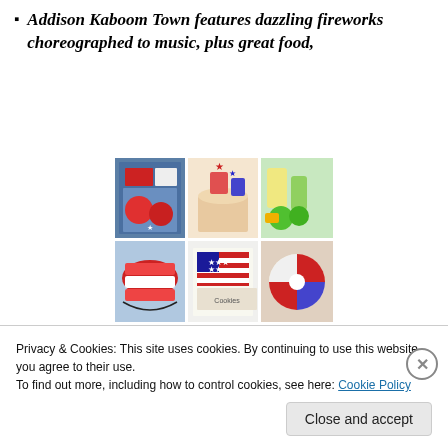Addison Kaboom Town features dazzling fireworks choreographed to music, plus great food,
[Figure (photo): Mosaic of patriotic food and decoration photos — includes cupcakes, cake, burger, drinks, American flag cookies, decorated shoes, and other 4th of July themed items.]
live music, and the spectacular Addison Airport Air Show featuring the Cavanaugh Flight Museum Warbird Flyover. Fireworks will be launched at approximately 9:35 p.m. Stay after the fireworks for
Privacy & Cookies: This site uses cookies. By continuing to use this website, you agree to their use.
To find out more, including how to control cookies, see here: Cookie Policy